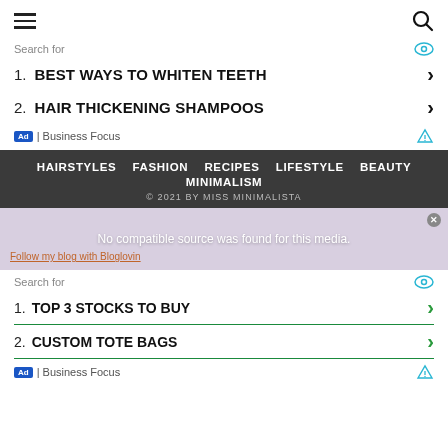hamburger menu | search icon
Search for
1. BEST WAYS TO WHITEN TEETH
2. HAIR THICKENING SHAMPOOS
Ad | Business Focus
HAIRSTYLES  FASHION  RECIPES  LIFESTYLE  BEAUTY  MINIMALISM
© 2021 BY MISS MINIMALISTA
No compatible source was found for this media.
Follow my blog with Bloglovin
Search for
1. TOP 3 STOCKS TO BUY
2. CUSTOM TOTE BAGS
Ad | Business Focus